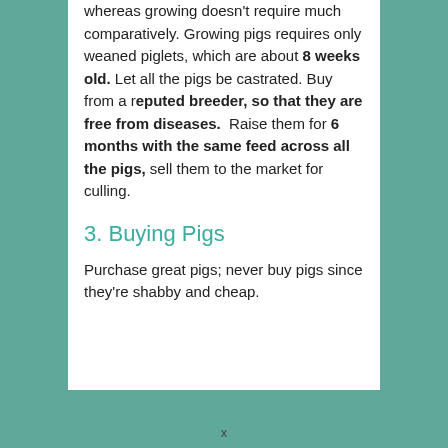whereas growing doesn't require much comparatively. Growing pigs requires only weaned piglets, which are about 8 weeks old. Let all the pigs be castrated. Buy from a reputed breeder, so that they are free from diseases.  Raise them for 6 months with the same feed across all the pigs, sell them to the market for culling.
3. Buying Pigs
Purchase great pigs; never buy pigs since they're shabby and cheap.